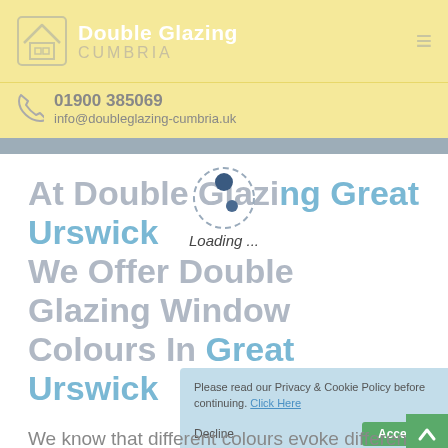Double Glazing CUMBRIA
01900 385069
info@doubleglazing-cumbria.uk
At Double Glazing Great Urswick We Offer Double Glazing Window Colours In Great Urswick
[Figure (other): Loading spinner animation overlay with 'Loading ...' text]
We know that different colours evoke different emotions, but when it comes to our windows we understand that you want it to suit it to your
[Figure (other): Cookie consent banner: 'Please read our Privacy & Cookie Policy before continuing. Click Here' with Decline and Accept buttons]